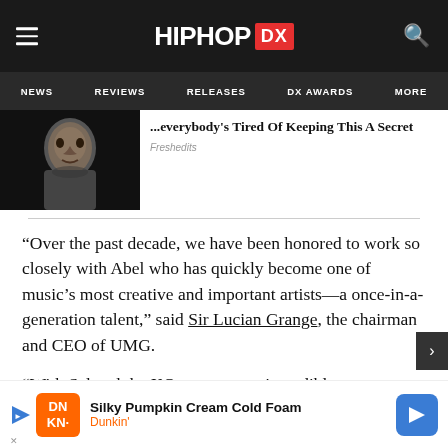HIPHOP DX
NEWS  REVIEWS  RELEASES  DX AWARDS  MORE
[Figure (photo): Portrait photo of a man against a dark background]
...everybody's Tired Of Keeping This A Secret
Freshedits
“Over the past decade, we have been honored to work so closely with Abel who has quickly become one of music’s most creative and important artists—a once-in-a-generation talent,” said Sir Lucian Grange, the chairman and CEO of UMG.
“With Sal and the XO team as our incredible partners, we’ve been able to create a vision. I
[Figure (infographic): Advertisement banner for Dunkin' Silky Pumpkin Cream Cold Foam]